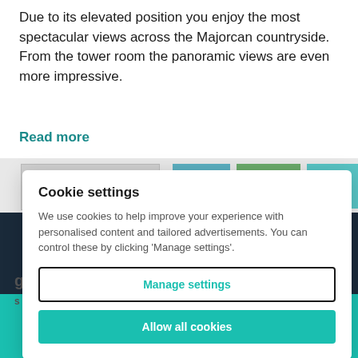Due to its elevated position you enjoy the most spectacular views across the Majorcan countryside. From the tower room the panoramic views are even more impressive.
Read more
[Figure (screenshot): Row of image thumbnails showing outdoor/pool scenes]
Cookie settings
We use cookies to help improve your experience with personalised content and tailored advertisements. You can control these by clicking 'Manage settings'.
Manage settings
Allow all cookies